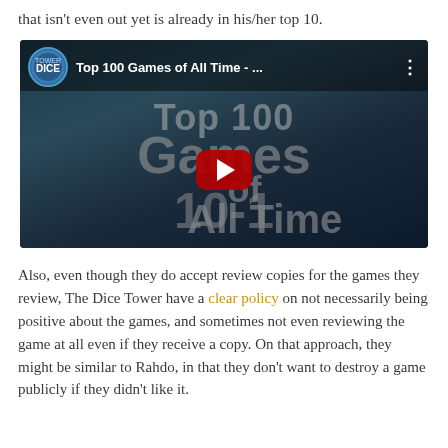that isn't even out yet is already in his/her top 10.
[Figure (screenshot): YouTube video thumbnail for 'Top 100 Games of All Time - ...' showing animated dice tower characters with large text reading 'Top 100 Games of All Time 10-1' and a YouTube play button in the center.]
Also, even though they do accept review copies for the games they review, The Dice Tower have a clear policy on not necessarily being positive about the games, and sometimes not even reviewing the game at all even if they receive a copy. On that approach, they might be similar to Rahdo, in that they don't want to destroy a game publicly if they didn't like it.